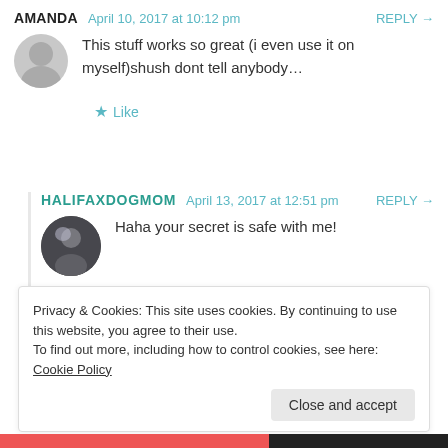AMANDA  April 10, 2017 at 10:12 pm  REPLY →
This stuff works so great (i even use it on myself)shush dont tell anybody…
★ Like
HALIFAXDOGMOM  April 13, 2017 at 12:51 pm  REPLY →
Haha your secret is safe with me!
★ Like
Privacy & Cookies: This site uses cookies. By continuing to use this website, you agree to their use. To find out more, including how to control cookies, see here: Cookie Policy
Close and accept